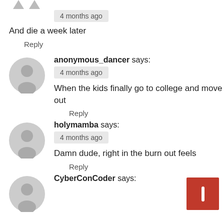4 months ago
And die a week later
Reply
anonymous_dancer says:
4 months ago
When the kids finally go to college and move out
Reply
holymamba says:
4 months ago
Damn dude, right in the burn out feels
Reply
CyberConCoder says: